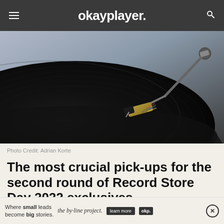okayplayer.
[Figure (photo): Close-up photograph of a vinyl record on a turntable with a tonearm and cartridge visible on the right side. The record is black and the background is dark.]
Photo Credit: Adrian Korte
The most crucial pick-ups for the second round of Record Store Day 2022 exclusives.
[Figure (infographic): Advertisement banner: 'Where small leads become big stories. the by-line project. learn more' with okp logo and close button.]